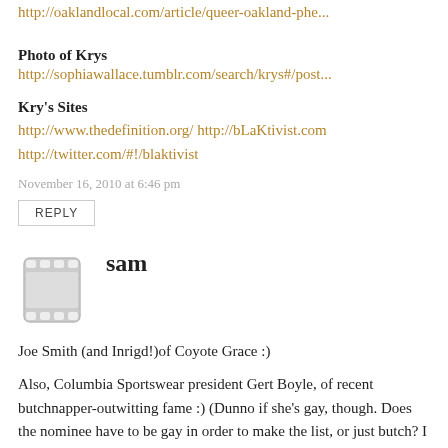http://oaklandlocal.com/article/queer-oakland-phe...
Photo of Krys
http://sophiawallace.tumblr.com/search/krys#/post...
Kry's Sites
http://www.thedefinition.org/ http://bLaKtivist.com http://twitter.com/#!/blaktivist
November 16, 2010 at 6:46 pm
REPLY
sam
Joe Smith (and Inrigd!)of Coyote Grace :)
Also, Columbia Sportswear president Gert Boyle, of recent butchnapper-outwitting fame :) (Dunno if she's gay, though. Does the nominee have to be gay in order to make the list, or just butch? I know some pretty butch hetero's.)